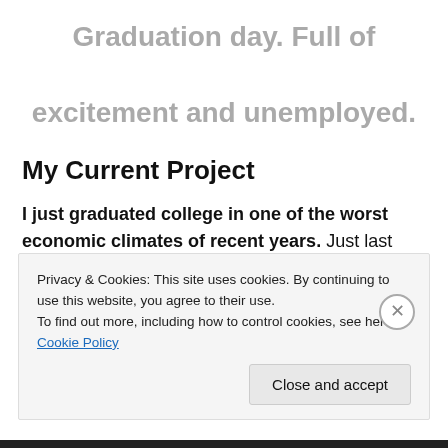Graduation day. Full of excitement and unemployed.
My Current Project
I just graduated college in one of the worst economic climates of recent years. Just last month, 131,000 jobs have been lost in the United States. Now, hold on. I have a
Privacy & Cookies: This site uses cookies. By continuing to use this website, you agree to their use.
To find out more, including how to control cookies, see here: Cookie Policy
Close and accept